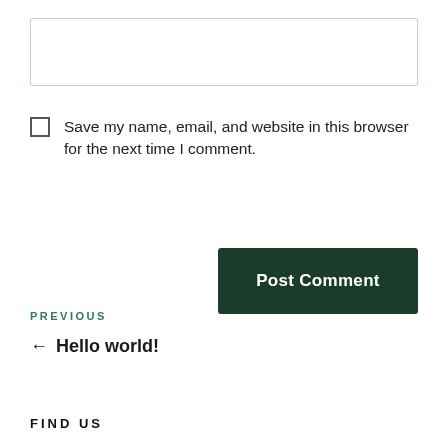[Figure (other): Empty text input box with light teal/green border]
Save my name, email, and website in this browser for the next time I comment.
Post Comment
PREVIOUS
← Hello world!
FIND US